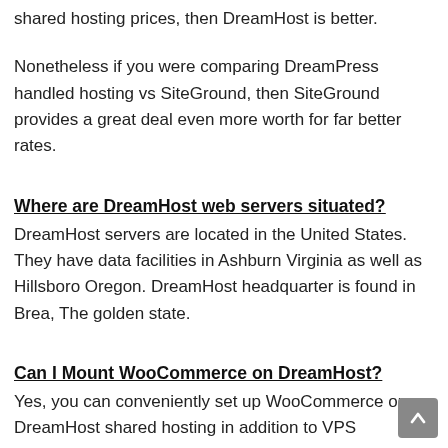shared hosting prices, then DreamHost is better.
Nonetheless if you were comparing DreamPress handled hosting vs SiteGround, then SiteGround provides a great deal even more worth for far better rates.
Where are DreamHost web servers situated?
DreamHost servers are located in the United States. They have data facilities in Ashburn Virginia as well as Hillsboro Oregon. DreamHost headquarter is found in Brea, The golden state.
Can I Mount WooCommerce on DreamHost?
Yes, you can conveniently set up WooCommerce on DreamHost shared hosting in addition to VPS strategies.